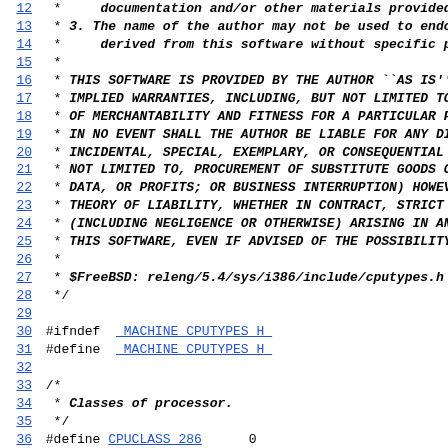Source code listing: cputypes.h lines 12-44, FreeBSD
12  *    documentation and/or other materials provided w
13  * 3. The name of the author may not be used to endors
14  *    derived from this software without specific prio
15  *
16  * THIS SOFTWARE IS PROVIDED BY THE AUTHOR ``AS IS'' A
17  * IMPLIED WARRANTIES, INCLUDING, BUT NOT LIMITED TO,
18  * OF MERCHANTABILITY AND FITNESS FOR A PARTICULAR PU
19  * IN NO EVENT SHALL THE AUTHOR BE LIABLE FOR ANY DIRE
20  * INCIDENTAL, SPECIAL, EXEMPLARY, OR CONSEQUENTIAL DA
21  * NOT LIMITED TO, PROCUREMENT OF SUBSTITUTE GOODS OR
22  * DATA, OR PROFITS; OR BUSINESS INTERRUPTION) HOWEVE
23  * THEORY OF LIABILITY, WHETHER IN CONTRACT, STRICT LI
24  * (INCLUDING NEGLIGENCE OR OTHERWISE) ARISING IN ANY
25  * THIS SOFTWARE, EVEN IF ADVISED OF THE POSSIBILITY O
26  *
27  * $FreeBSD: releng/5.4/sys/i386/include/cputypes.h 14
28  */
29
30 #ifndef  _MACHINE_CPUTYPES_H_
31 #define  _MACHINE_CPUTYPES_H_
32
33 /*
34  * Classes of processor.
35  */
36 #define CPUCLASS_286  0
37 #define CPUCLASS_386  1
38 #define CPUCLASS_486  2
39 #define CPUCLASS_586  3
40 #define CPUCLASS_686  4
41
42 /*
43  * Kinds of processor.
44  */